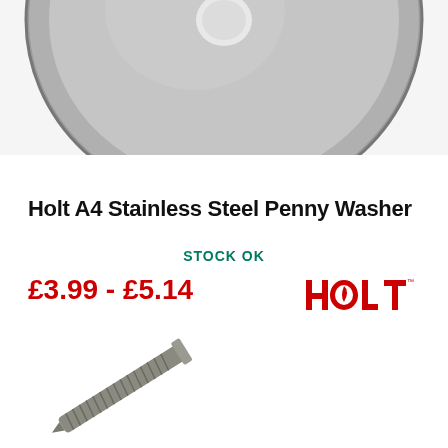[Figure (photo): Close-up photo of a stainless steel penny washer, large flat circular disc, showing the top surface with metallic sheen. Only the bottom portion of the washer is visible, cropped at the top.]
Holt A4 Stainless Steel Penny Washer
STOCK OK
£3.99 - £5.14
[Figure (logo): HOLT brand logo in red with a sail icon inside the O letter]
[Figure (photo): Photo of a stainless steel self-tapping screw, shown at an angle, positioned in the lower left of the page]